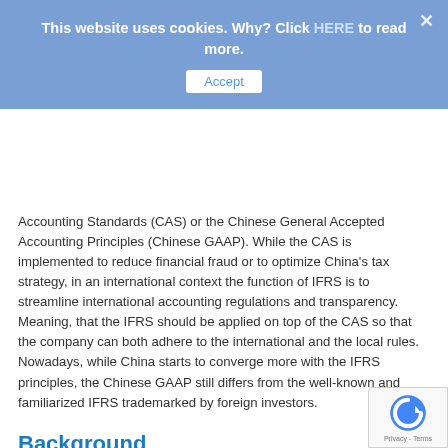This website uses cookies. Why? Click HERE to read more.
Accept
Accounting Standards (CAS) or the Chinese General Accepted Accounting Principles (Chinese GAAP). While the CAS is implemented to reduce financial fraud or to optimize China’s tax strategy, in an international context the function of IFRS is to streamline international accounting regulations and transparency. Meaning, that the IFRS should be applied on top of the CAS so that the company can both adhere to the international and the local rules. Nowadays, while China starts to converge more with the IFRS principles, the Chinese GAAP still differs from the well-known and familiarized IFRS trademarked by foreign investors.
Background
The organ of the Accounting Regulatory Department of the Ministry of Finance (MoF) is